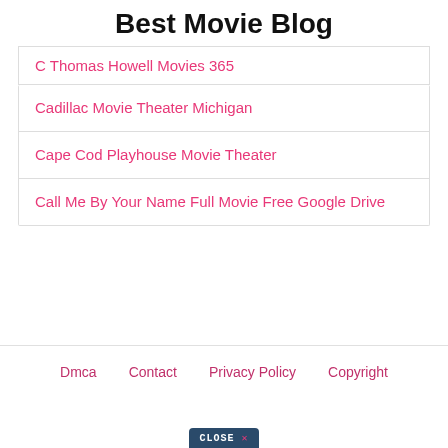Best Movie Blog
C Thomas Howell Movies 365
Cadillac Movie Theater Michigan
Cape Cod Playhouse Movie Theater
Call Me By Your Name Full Movie Free Google Drive
Dmca   Contact   Privacy Policy   Copyright
[Figure (other): CLOSE X button graphic at bottom center of page]